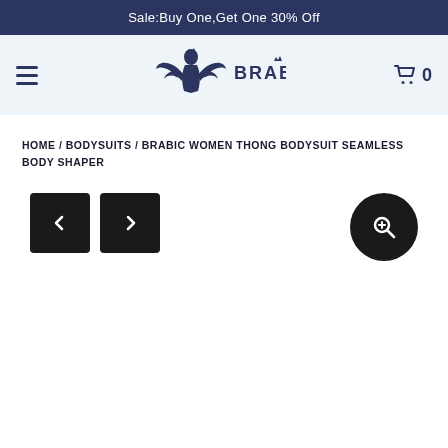Sale:Buy One,Get One 30% Off
[Figure (logo): Brabic brand logo with stylized woman figure and wings, text BRABIC in dark navy]
HOME / BODYSUITS / BRABIC WOMEN THONG BODYSUIT SEAMLESS BODY SHAPER
[Figure (screenshot): Product image navigation area with left and right arrow buttons (black squares) and a zoom/search button (black circle with magnifying glass icon) on the right]